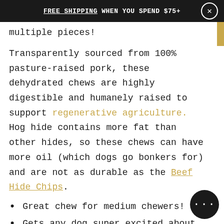FREE SHIPPING WHEN YOU SPEND $75+
multiple pieces!
Transparently sourced from 100% pasture-raised pork, these dehydrated chews are highly digestible and humanely raised to support regenerative agriculture. Hog hide contains more fat than other hides, so these chews can have more oil (which dogs go bonkers for) and are not as durable as the Beef Hide Chips.
Great chew for medium chewers!
Gets any dog super excited about chew time!
Cleans teeth and gums!
Ingredients: 100% Dehydrated Hog Hide